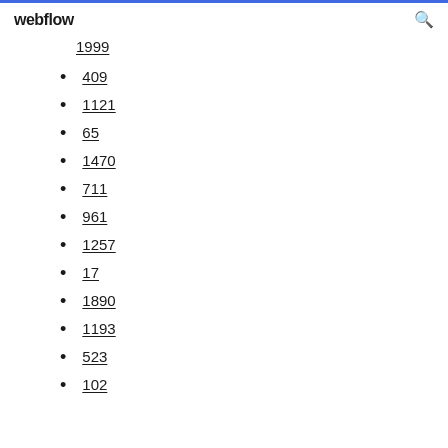webflow
1999
409
1121
65
1470
711
961
1257
17
1890
1193
523
102